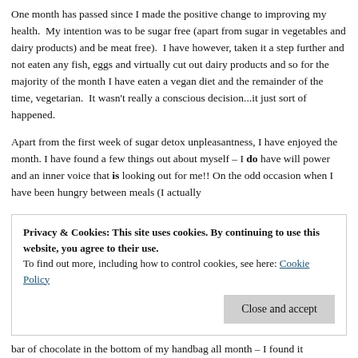One month has passed since I made the positive change to improving my health.  My intention was to be sugar free (apart from sugar in vegetables and dairy products) and be meat free).  I have however, taken it a step further and not eaten any fish, eggs and virtually cut out dairy products and so for the majority of the month I have eaten a vegan diet and the remainder of the time, vegetarian.  It wasn't really a conscious decision...it just sort of happened.
Apart from the first week of sugar detox unpleasantness, I have enjoyed the month. I have found a few things out about myself – I do have will power and an inner voice that is looking out for me!! On the odd occasion when I have been hungry between meals (I actually
Privacy & Cookies: This site uses cookies. By continuing to use this website, you agree to their use.
To find out more, including how to control cookies, see here: Cookie Policy
bar of chocolate in the bottom of my handbag all month – I found it